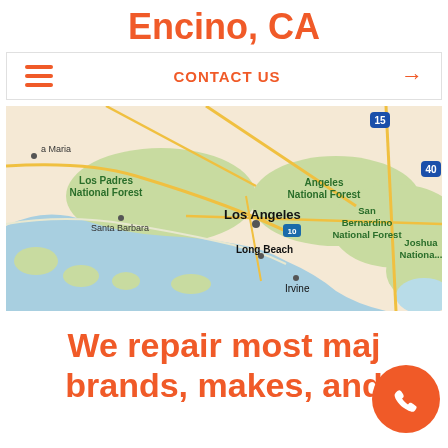Encino, CA
CONTACT US →
[Figure (map): Google Maps view of Southern California showing Los Angeles area including Santa Barbara, Los Padres National Forest, Angeles National Forest, Los Angeles, Long Beach, Irvine, San Bernardino National Forest, Joshua National area, with highway markers I-15 and I-40 visible.]
We repair most major brands, makes, and